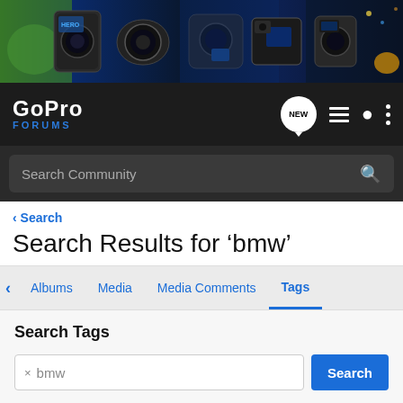[Figure (photo): GoPro banner with multiple action camera models displayed against action sports backgrounds (snowboarding, motorcycling, diving).]
[Figure (logo): GoPro Forums logo in white and blue on dark navbar background.]
Search Community
< Search
Search Results for ‘bmw’
Albums   Media   Media Comments   Tags
Search Tags
× bmw
Search